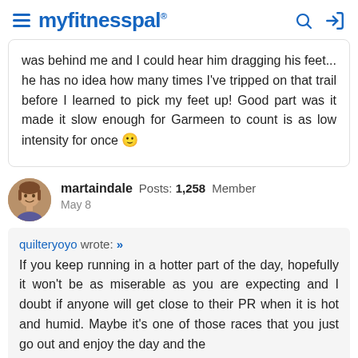myfitnesspal
was behind me and I could hear him dragging his feet... he has no idea how many times I've tripped on that trail before I learned to pick my feet up! Good part was it made it slow enough for Garmeen to count is as low intensity for once 🙂
martaindale Posts: 1,258 Member
May 8
quilteryoyo wrote: »
If you keep running in a hotter part of the day, hopefully it won't be as miserable as you are expecting and I doubt if anyone will get close to their PR when it is hot and humid. Maybe it's one of those races that you just go out and enjoy the day and the